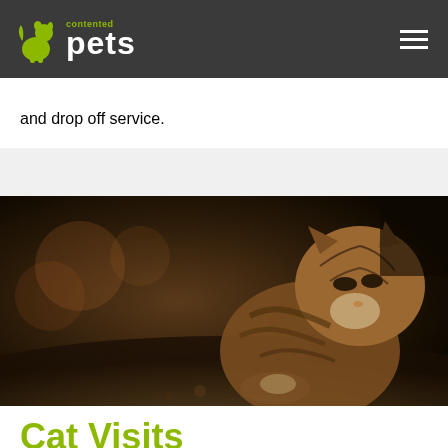contented pets
and drop off service.
[Figure (photo): Close-up side profile of a tabby cat in dim warm lighting, looking to the left, with bokeh background]
Cat Visits